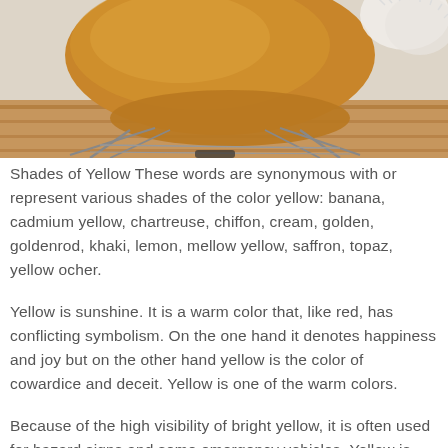[Figure (photo): Close-up photo of a tan/amber colored mid-century modern rocking chair with metal wire legs, on a wooden floor. A furry white object is partially visible in the upper right corner.]
Shades of Yellow These words are synonymous with or represent various shades of the color yellow: banana, cadmium yellow, chartreuse, chiffon, cream, golden, goldenrod, khaki, lemon, mellow yellow, saffron, topaz, yellow ocher.
Yellow is sunshine. It is a warm color that, like red, has conflicting symbolism. On the one hand it denotes happiness and joy but on the other hand yellow is the color of cowardice and deceit. Yellow is one of the warm colors.
Because of the high visibility of bright yellow, it is often used for hazard signs and some emergency vehicles. Yellow is cheerful. For years yellow ribbons were worn as a sign of hope as women waited from their men to come marching home from